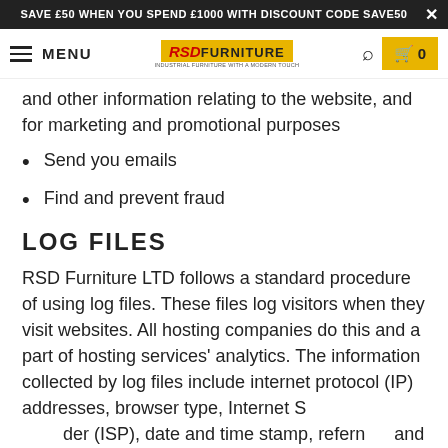SAVE £50 WHEN YOU SPEND £1000 WITH DISCOUNT CODE SAVE50
MENU | RSD FURNITURE | Search | Cart 0
and other information relating to the website, and for marketing and promotional purposes
Send you emails
Find and prevent fraud
LOG FILES
RSD Furniture LTD follows a standard procedure of using log files. These files log visitors when they visit websites. All hosting companies do this and a part of hosting services' analytics. The information collected by log files include internet protocol (IP) addresses, browser type, Internet Service Provider (ISP), date and time stamp, referring/exit pages, and possibly the number of clicks. These are not linked to any information that is personally